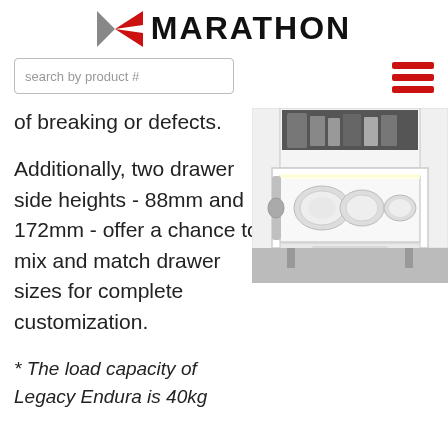[Figure (logo): Marathon logo with stylized M in red and gray, followed by MARATHON text in bold black]
search by product #
[Figure (other): Hamburger menu icon with three red horizontal bars]
of breaking or defects.
[Figure (photo): Kitchen cabinet with open drawer system showing plates and dishes organized inside, with illuminated LED lighting, white cabinetry]
Additionally, two drawer side heights - 88mm and 172mm - offer a chance to mix and match drawer sizes for complete customization.
* The load capacity of Legacy Endura is 40kg